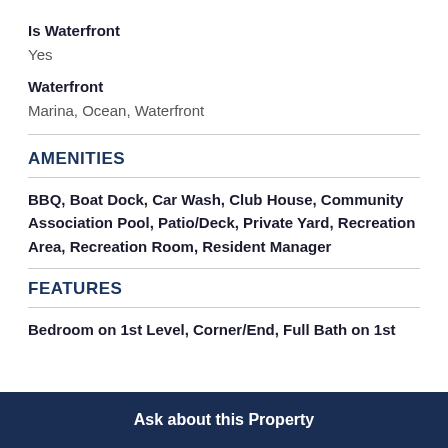Is Waterfront
Yes
Waterfront
Marina, Ocean, Waterfront
AMENITIES
BBQ, Boat Dock, Car Wash, Club House, Community Association Pool, Patio/Deck, Private Yard, Recreation Area, Recreation Room, Resident Manager
FEATURES
Bedroom on 1st Level, Corner/End, Full Bath on 1st
Ask about this Property